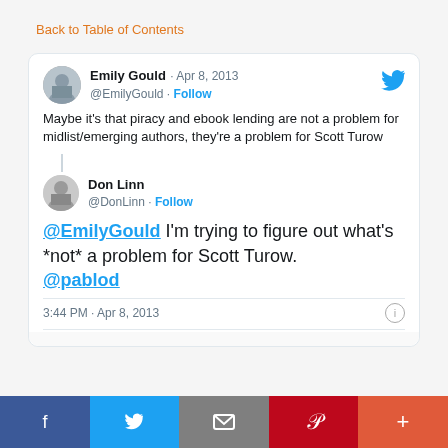Back to Table of Contents
[Figure (screenshot): Twitter/social media post screenshot showing a tweet from Emily Gould (@EmilyGould, Apr 8, 2013) saying 'Maybe it's that piracy and ebook lending are not a problem for midlist/emerging authors, they're a problem for Scott Turow', and a reply from Don Linn (@DonLinn) saying '@EmilyGould I'm trying to figure out what's *not* a problem for Scott Turow. @pablod', timestamped 3:44 PM · Apr 8, 2013]
[Figure (screenshot): Social share bar at the bottom with Facebook, Twitter, Email, Pinterest, and More buttons]